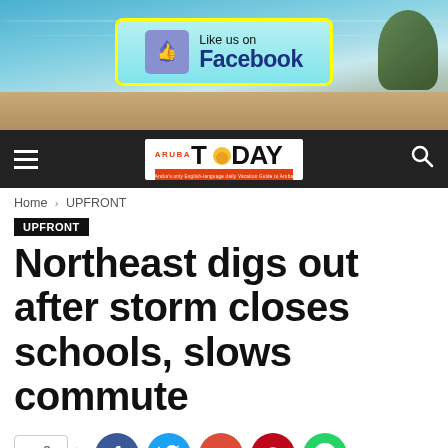[Figure (screenshot): Beach scene with turquoise water and sand, background for header banner]
[Figure (logo): Like us on Facebook badge with cyan background and yellow border, thumbs-up icon]
[Figure (logo): Aruba Today newspaper logo on dark navigation bar with hamburger menu and search icon]
Home › UPFRONT
UPFRONT
Northeast digs out after storm closes schools, slows commute
[Figure (infographic): Social share buttons: share icon, Facebook (f), Twitter (bird), Google+ (G+), Pinterest (P), WhatsApp (phone)]